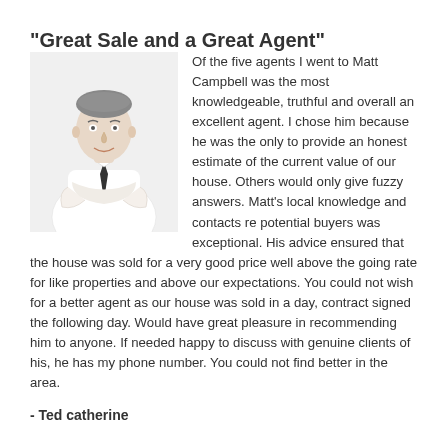"Great Sale and a Great Agent"
[Figure (photo): Professional headshot of a middle-aged man in a white shirt and dark tie, arms crossed, smiling.]
Of the five agents I went to Matt Campbell was the most knowledgeable, truthful and overall an excellent agent. I chose him because he was the only to provide an honest estimate of the current value of our house. Others would only give fuzzy answers. Matt's local knowledge and contacts re potential buyers was exceptional. His advice ensured that the house was sold for a very good price well above the going rate for like properties and above our expectations. You could not wish for a better agent as our house was sold in a day, contract signed the following day. Would have great pleasure in recommending him to anyone. If needed happy to discuss with genuine clients of his, he has my phone number. You could not find better in the area.
- Ted catherine